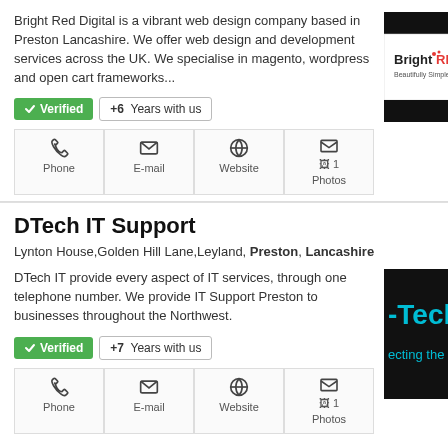Bright Red Digital is a vibrant web design company based in Preston Lancashire. We offer web design and development services across the UK. We specialise in magento, wordpress and open cart frameworks...
✓ Verified   +6  Years with us
[Figure (logo): BrightRED logo — beautifully simple — black and red branding]
DTech IT Support
Lynton House,Golden Hill Lane,Leyland, Preston, Lancashire
DTech IT provide every aspect of IT services, through one telephone number. We provide IT Support Preston to businesses throughout the Northwest.
✓ Verified   +7  Years with us
[Figure (logo): DTech IT logo — cyan text on black background — Connecting the...]